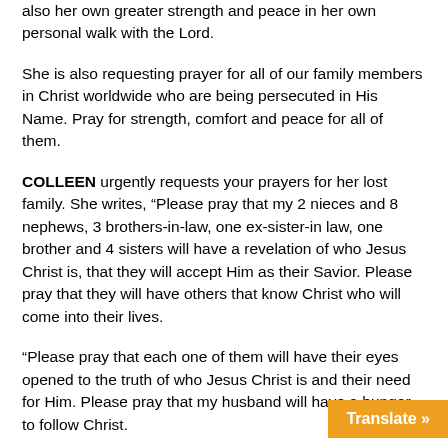also her own greater strength and peace in her own personal walk with the Lord.
She is also requesting prayer for all of our family members in Christ worldwide who are being persecuted in His Name. Pray for strength, comfort and peace for all of them.
COLLEEN urgently requests your prayers for her lost family. She writes, “Please pray that my 2 nieces and 8 nephews, 3 brothers-in-law, one ex-sister-in law, one brother and 4 sisters will have a revelation of who Jesus Christ is, that they will accept Him as their Savior. Please pray that they will have others that know Christ who will come into their lives.
“Please pray that each one of them will have their eyes opened to the truth of who Jesus Christ is and their need for Him. Please pray that my husband will have a hunger to follow Christ.
“Please pray that God will cure my health issues so that I might have the physical strength to serve after Christ. Please pray that my heart will